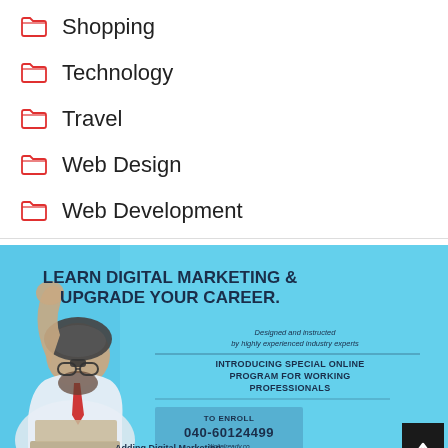Shopping
Technology
Travel
Web Design
Web Development
[Figure (illustration): Advertisement banner for digital marketing course. Light blue background with a person wearing a pilot helmet and glasses, raising fist, seated at laptop. Text reads: LEARN DIGITAL MARKETING & UPGRADE YOUR CAREER. Designed and instructed by highly experienced industry experts. INTRODUCING SPECIAL ONLINE PROGRAM FOR WORKING PROFESSIONALS. TO ENROLL 040-60124499 digitalready.co. Adding Digital Marketing Skill can boost your salary up to 40% more!]